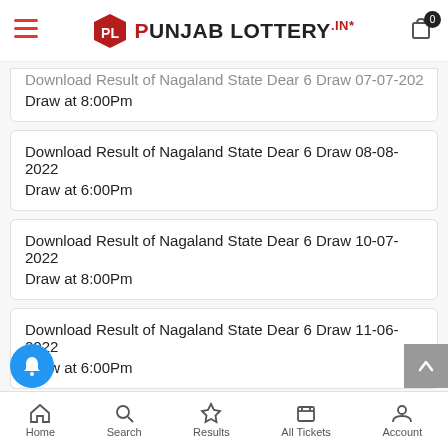PL Punjab Lottery.in
Download Result of Nagaland State Dear 6 Draw 07-07-2022 Draw at 8:00Pm
Download Result of Nagaland State Dear 6 Draw 08-08-2022 Draw at 6:00Pm
Download Result of Nagaland State Dear 6 Draw 10-07-2022 Draw at 8:00Pm
Download Result of Nagaland State Dear 6 Draw 11-06-2022 Draw at 6:00Pm
Download Result of Nagaland State Dear 6 Draw 14-07-2022 Draw at 6:00Pm
Download Result of Nagaland State Dear 6 Draw 17-05-2022
Home  Search  Results  All Tickets  Account